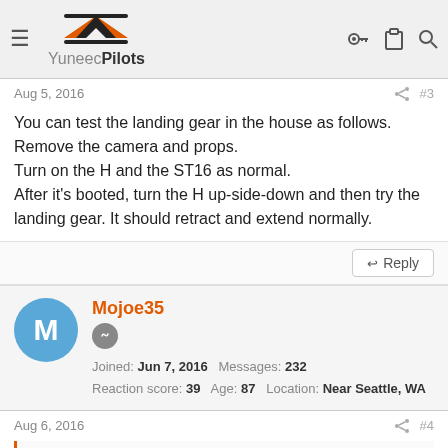YuneecPilots
Aug 5, 2016   #3
You can test the landing gear in the house as follows.
Remove the camera and props.
Turn on the H and the ST16 as normal.
After it's booted, turn the H up-side-down and then try the landing gear. It should retract and extend normally.
Mojoe35
Joined: Jun 7, 2016  Messages: 232
Reaction score: 39  Age: 87  Location: Near Seattle, WA
Aug 6, 2016   #4
abinder said: